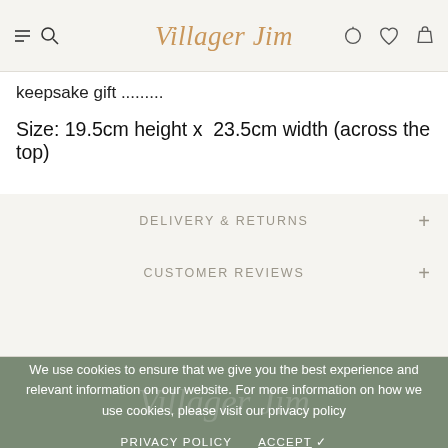Villager Jim [logo with navigation icons]
keepsake gift .........
Size: 19.5cm height x  23.5cm width (across the top)
DELIVERY & RETURNS
CUSTOMER REVIEWS
We use cookies to ensure that we give you the best experience and relevant information on our website. For more information on how we use cookies, please visit our privacy policy
PRIVACY POLICY     ACCEPT ✓